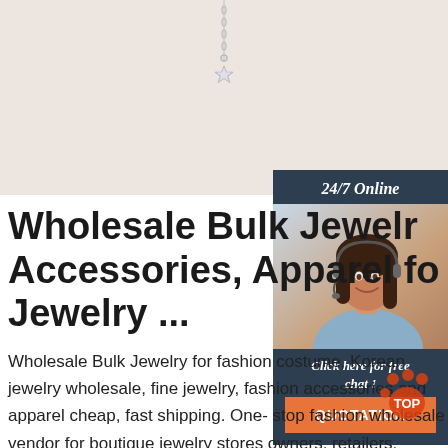[Figure (photo): Beige/cream background banner with a silver star charm pendant hanging from a chain at the top center]
[Figure (photo): Customer service representative - woman with dark hair wearing a headset, smiling, with '24/7 Online' label and dark teal background panel, orange QUOTATION button and 'Click here for free chat!' text]
Wholesale Bulk Jewelry Accessories, Apparel for Jewelry ...
Wholesale Bulk Jewelry for fashion costume, Korean jewelry wholesale, fine jewelry, fashion accessories and apparel cheap, fast shipping. One-stop fashion wholesale vendor for boutique jewelry stores owners, retailers.
[Figure (logo): Orange paw print 'TOP' badge in bottom right corner]